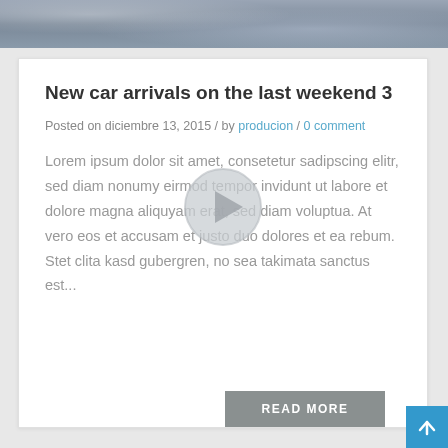[Figure (photo): Partial photo strip at top of page showing blurred image of people with a car]
New car arrivals on the last weekend 3
Posted on diciembre 13, 2015 / by producion / 0 comment
Lorem ipsum dolor sit amet, consetetur sadipscing elitr, sed diam nonumy eirmod tempor invidunt ut labore et dolore magna aliquyam erat, sed diam voluptua. At vero eos et accusam et justo duo dolores et ea rebum. Stet clita kasd gubergren, no sea takimata sanctus est...